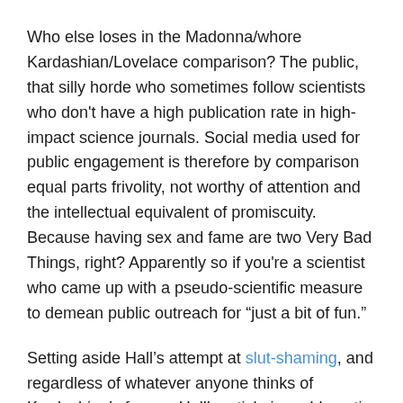Who else loses in the Madonna/whore Kardashian/Lovelace comparison? The public, that silly horde who sometimes follow scientists who don't have a high publication rate in high-impact science journals. Social media used for public engagement is therefore by comparison equal parts frivolity, not worthy of attention and the intellectual equivalent of promiscuity. Because having sex and fame are two Very Bad Things, right? Apparently so if you're a scientist who came up with a pseudo-scientific measure to demean public outreach for “just a bit of fun.”
Setting aside Hall’s attempt at slut-shaming, and regardless of whatever anyone thinks of Kardashian’s fame – Hall’s article is problematic on many levels, even if it is, wink, just for fun.